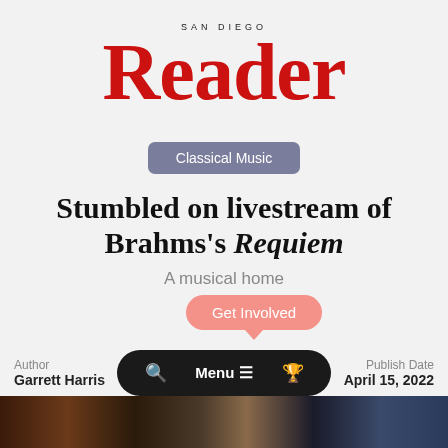[Figure (logo): San Diego Reader logo in red serif font with 'SAN DIEGO' in small caps above]
Classical Music
Stumbled on livestream of Brahms's Requiem
A musical home
Get Involved
Author
Garrett Harris
Publish Date
April 15, 2022
[Figure (photo): Dark photo strip at bottom of page showing a concert or performance scene]